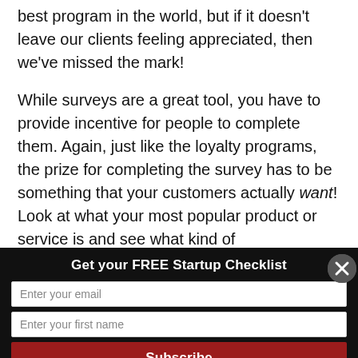best program in the world, but if it doesn't leave our clients feeling appreciated, then we've missed the mark!
While surveys are a great tool, you have to provide incentive for people to complete them. Again, just like the loyalty programs, the prize for completing the survey has to be something that your customers actually want! Look at what your most popular product or service is and see what kind of
Get your FREE Startup Checklist
Enter your email
Enter your first name
Subscribe